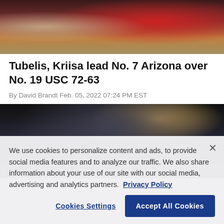[Figure (photo): Sports photo showing basketball players, one in a red USC jersey, during a game]
Tubelis, Kriisa lead No. 7 Arizona over No. 19 USC 72-63
By David Brandt Feb. 05, 2022 07:24 PM EST
[Figure (photo): Basketball game action photo showing players in dark arena setting]
We use cookies to personalize content and ads, to provide social media features and to analyze our traffic. We also share information about your use of our site with our social media, advertising and analytics partners.  Privacy Policy
Cookies Settings   Accept All Cookies